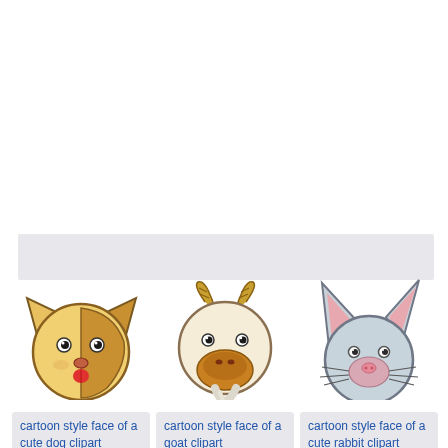[Figure (illustration): Cartoon style face of a cute dog clipart - round yellow/tan face with brown patch, small nose, tongue out]
cartoon style face of a cute dog clipart
[Figure (illustration): Cartoon style face of a goat clipart - round beige face with striped horns, orange/brown muzzle, white beard]
cartoon style face of a goat clipart
[Figure (illustration): Cartoon style face of a cute rabbit clipart - round light blue/gray face with tall white ears with pink inside, pink nose]
cartoon style face of a cute rabbit clipart